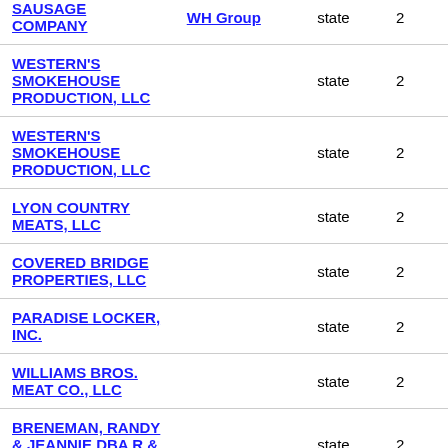| Company | Parent | Type | Number |
| --- | --- | --- | --- |
| SAUSAGE COMPANY | WH Group | state | 2 |
| WESTERN'S SMOKEHOUSE PRODUCTION, LLC |  | state | 2 |
| WESTERN'S SMOKEHOUSE PRODUCTION, LLC |  | state | 2 |
| LYON COUNTRY MEATS, LLC |  | state | 2 |
| COVERED BRIDGE PROPERTIES, LLC |  | state | 2 |
| PARADISE LOCKER, INC. |  | state | 2 |
| WILLIAMS BROS. MEAT CO., LLC |  | state | 2 |
| BRENEMAN, RANDY & JEANNIE DBA R & R PROCESSING |  | state | 2 |
| POWELL MEAT |  |  |  |